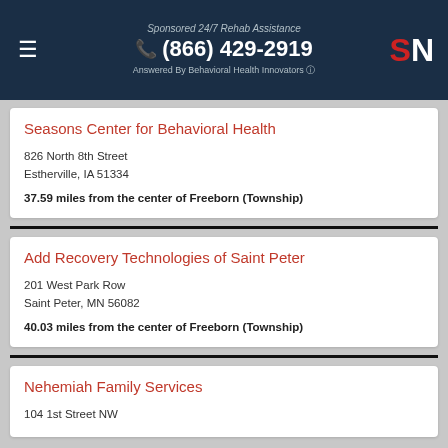Sponsored 24/7 Rehab Assistance (866) 429-2919 Answered By Behavioral Health Innovators SN
Seasons Center for Behavioral Health
826 North 8th Street
Estherville, IA 51334
37.59 miles from the center of Freeborn (Township)
Add Recovery Technologies of Saint Peter
201 West Park Row
Saint Peter, MN 56082
40.03 miles from the center of Freeborn (Township)
Nehemiah Family Services
104 1st Street NW